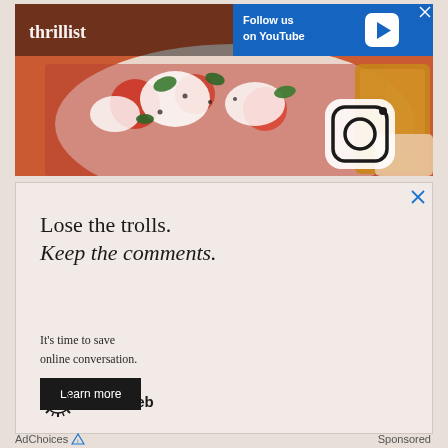[Figure (screenshot): Thrillist social media banner ad with food photo (pasta/burrata dish with strawberries and greens) and YouTube follow overlay, plus Instagram icon]
[Figure (screenshot): OpenWeb advertisement: 'Lose the trolls. Keep the comments. It's time to save online conversation.' with Learn more button and OpenWeb logo]
AdChoices   Sponsored